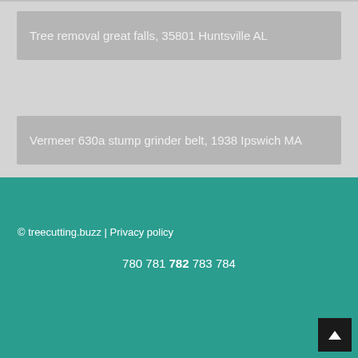Tree removal great falls, 35801 Huntsville AL
Vermeer 630a stump grinder belt, 1938 Ipswich MA
Tree stump grinding kansas city mo, 1969 Rowley MA
© treecutting.buzz | Privacy policy
780 781 782 783 784